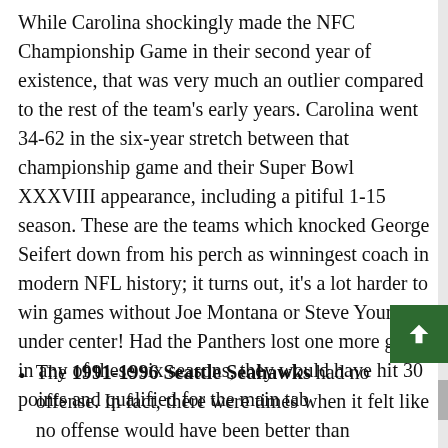While Carolina shockingly made the NFC Championship Game in their second year of existence, that was very much an outlier compared to the rest of the team's early years. Carolina went 34-62 in the six-year stretch between that championship game and their Super Bowl XXXVIII appearance, including a pitiful 1-15 season. These are the teams which knocked George Seifert down from his perch as winningest coach in modern NFL history; it turns out, it's a lot harder to win games without Joe Montana or Steve Young under center! Had the Panthers lost one more game in any of these six seasons, they would have hit 30 points and qualified for the main tab
The 1991-1996 Seattle Seahawks had no offense. In fact, there were times when it felt like no offense would have been better than